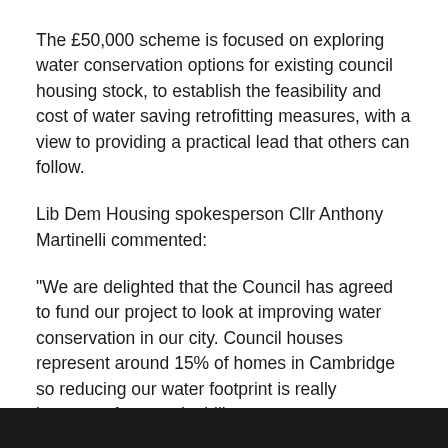The £50,000 scheme is focused on exploring water conservation options for existing council housing stock, to establish the feasibility and cost of water saving retrofitting measures, with a view to providing a practical lead that others can follow.
Lib Dem Housing spokesperson Cllr Anthony Martinelli commented:
"We are delighted that the Council has agreed to fund our project to look at improving water conservation in our city. Council houses represent around 15% of homes in Cambridge so reducing our water footprint is really important for sustainability.
"We know that our region is one of the driest in the country and that this threatens the unique ecosystems in our area including the River Cam and our chalk streams. This work will mean we can